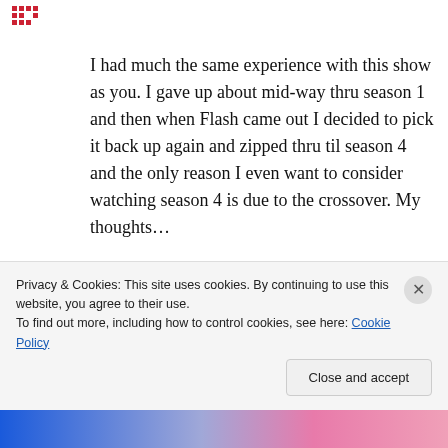[Figure (logo): Small red dotted/pixel logo in top left corner]
I had much the same experience with this show as you. I gave up about mid-way thru season 1 and then when Flash came out I decided to pick it back up again and zipped thru til season 4 and the only reason I even want to consider watching season 4 is due to the crossover. My thoughts…
1. All of Ollie's love interests. He's in love every other freak'n second. First it's Laurel, on the island its Shado and Sara, then Laurel again,
Privacy & Cookies: This site uses cookies. By continuing to use this website, you agree to their use.
To find out more, including how to control cookies, see here: Cookie Policy
Close and accept